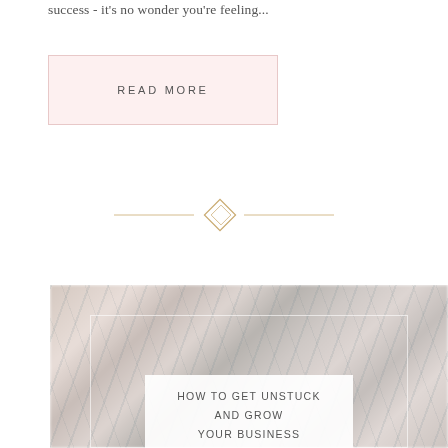success - it's no wonder you're feeling...
READ MORE
[Figure (illustration): Decorative horizontal divider with a diamond/rhombus ornament in gold/tan color centered between two horizontal lines]
[Figure (photo): Blog post card thumbnail with marble texture background in pinkish-gray tones, featuring a white border overlay and a white centered panel with text reading 'HOW TO GET UNSTUCK AND GROW YOUR BUSINESS']
HOW TO GET UNSTUCK AND GROW YOUR BUSINESS